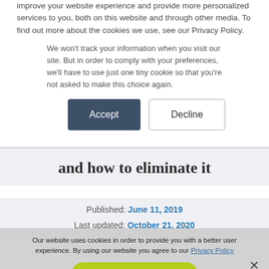improve your website experience and provide more personalized services to you, both on this website and through other media. To find out more about the cookies we use, see our Privacy Policy.
We won't track your information when you visit our site. But in order to comply with your preferences, we'll have to use just one tiny cookie so that you're not asked to make this choice again.
[Figure (screenshot): Two buttons side by side: a dark blue filled 'Accept' button and a bordered 'Decline' button]
and how to eliminate it
Published: June 11, 2019
Last updated: October 21, 2020
Our website uses cookies in order to provide you with a better user experience. By using our website you agree to our Privacy Policy
[Figure (screenshot): Green 'Ok, continue' button on cookie consent overlay with X close button]